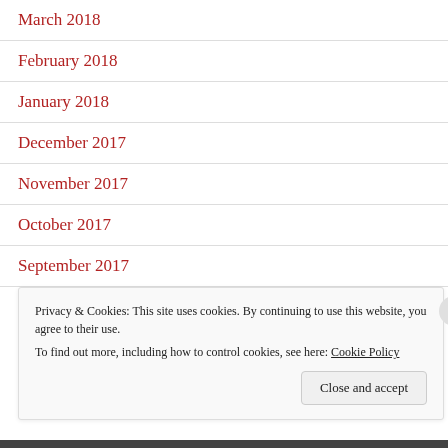March 2018
February 2018
January 2018
December 2017
November 2017
October 2017
September 2017
Privacy & Cookies: This site uses cookies. By continuing to use this website, you agree to their use. To find out more, including how to control cookies, see here: Cookie Policy
Close and accept